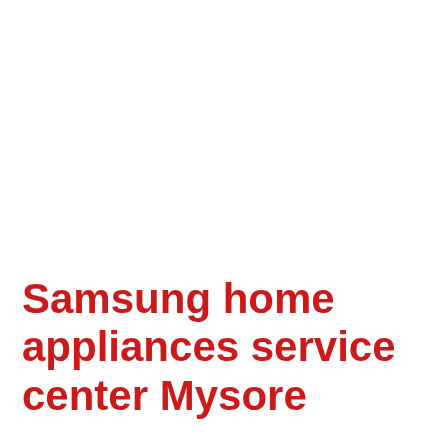Samsung home appliances service center Mysore